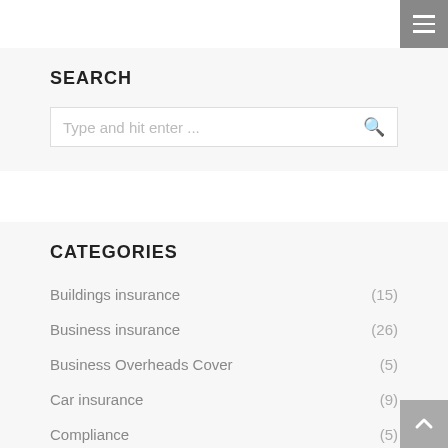SEARCH
Type and hit enter ...
CATEGORIES
Buildings insurance (15)
Business insurance (26)
Business Overheads Cover (5)
Car insurance (9)
Compliance (5)
Contents insurance (16)
Cyber insurance (33)